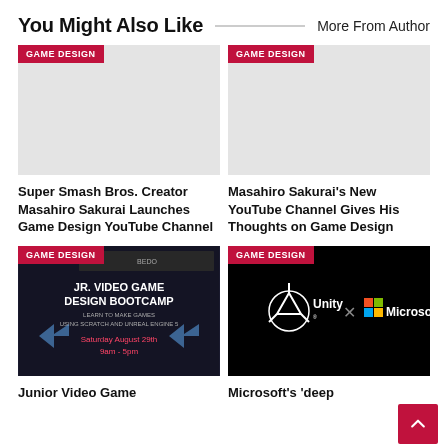You Might Also Like
More From Author
[Figure (photo): Gray placeholder image with GAME DESIGN badge]
Super Smash Bros. Creator Masahiro Sakurai Launches Game Design YouTube Channel
[Figure (photo): Gray placeholder image with GAME DESIGN badge]
Masahiro Sakurai's New YouTube Channel Gives His Thoughts on Game Design
[Figure (photo): Jr. Video Game Design Bootcamp event poster with GAME DESIGN badge]
Junior Video Game
[Figure (photo): Unity x Microsoft logo on black background with GAME DESIGN badge]
Microsoft's 'deep